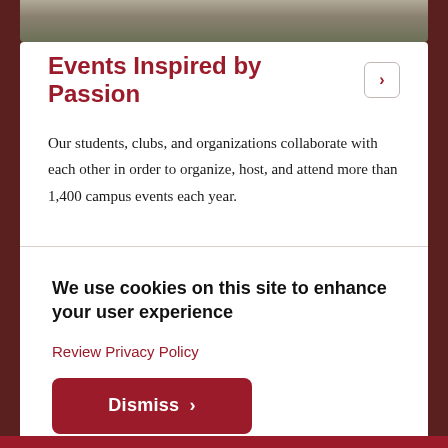[Figure (photo): Partial photo of outdoor campus scene visible at top of page]
Events Inspired by Passion
Our students, clubs, and organizations collaborate with each other in order to organize, host, and attend more than 1,400 campus events each year.
We use cookies on this site to enhance your user experience
Review Privacy Policy
Dismiss